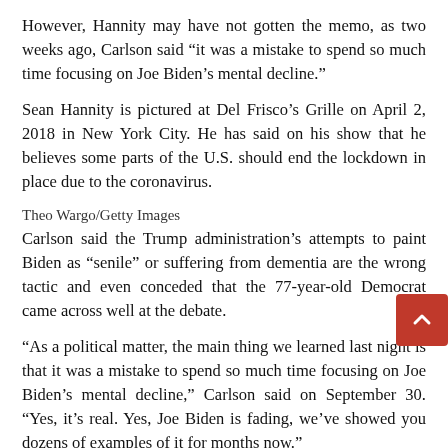However, Hannity may have not gotten the memo, as two weeks ago, Carlson said “it was a mistake to spend so much time focusing on Joe Biden’s mental decline.”
Sean Hannity is pictured at Del Frisco’s Grille on April 2, 2018 in New York City. He has said on his show that he believes some parts of the U.S. should end the lockdown in place due to the coronavirus.
Theo Wargo/Getty Images
Carlson said the Trump administration’s attempts to paint Biden as “senile” or suffering from dementia are the wrong tactic and even conceded that the 77-year-old Democrat came across well at the debate.
“As a political matter, the main thing we learned last night is that it was a mistake to spend so much time focusing on Joe Biden’s mental decline,” Carlson said on September 30. “Yes, it’s real. Yes, Joe Biden is fading, we’ve showed you dozens of examples of it for months now.”
“But on stage last night, Biden did not seem senile,” he